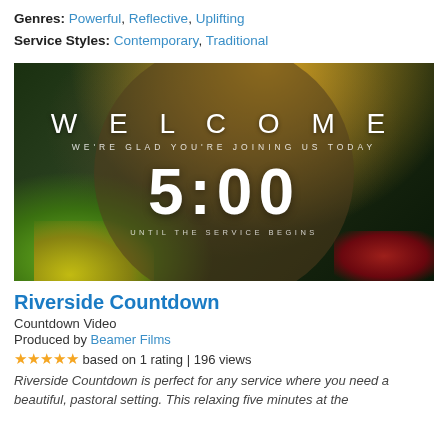Genres: Powerful, Reflective, Uplifting
Service Styles: Contemporary, Traditional
[Figure (screenshot): Riverside Countdown video screenshot showing a scenic pastoral background with forest and flowers. Overlaid text reads WELCOME / WE'RE GLAD YOU'RE JOINING US TODAY / 5:00 / UNTIL THE SERVICE BEGINS]
Riverside Countdown
Countdown Video
Produced by Beamer Films
★★★★★ based on 1 rating | 196 views
Riverside Countdown is perfect for any service where you need a beautiful, pastoral setting. This relaxing five minutes at the